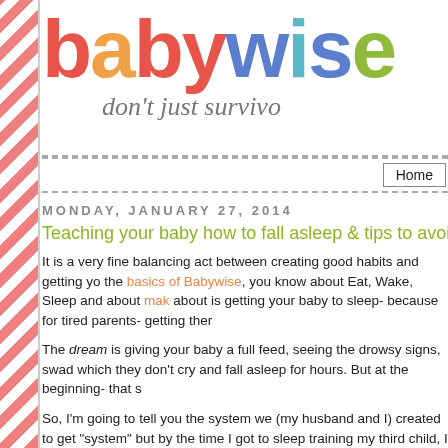babywise
don't just survivo
Home
MONDAY, JANUARY 27, 2014
Teaching your baby how to fall asleep & tips to avoid C
It is a very fine balancing act between creating good habits and getting yo... the basics of Babywise, you know about Eat, Wake, Sleep and about mak... about is getting your baby to sleep- because for tired parents- getting ther...
The dream is giving your baby a full feed, seeing the drowsy signs, swad... which they don't cry and fall asleep for hours. But at the beginning- that s...
So, I'm going to tell you the system we (my husband and I) created to get... "system" but by the time I got to sleep training my third child, I realized t...